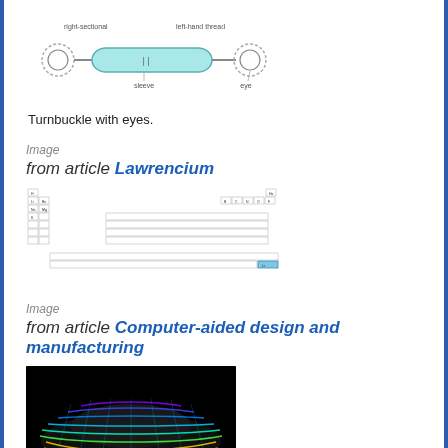[Figure (schematic): Diagram of a turnbuckle with eyes, showing right-sectional and left-hand thread labels, sleeve and eye components]
Turnbuckle with eyes.
Image
from article Lawrencium
[Figure (table-as-image): Periodic table of elements with Lawrencium highlighted]
Image
from article Computer-aided design and manufacturing
[Figure (illustration): CAD rendering of a car with colorful aerodynamic flow visualization on black background]